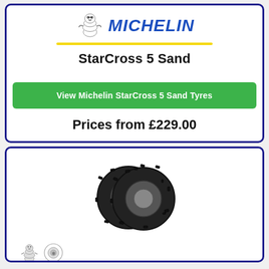[Figure (logo): Michelin logo with Bibendum mascot and yellow underline]
StarCross 5 Sand
View Michelin StarCross 5 Sand Tyres
Prices from £229.00
[Figure (photo): Two Michelin StarCross 5 Sand motocross tyres side by side]
[Figure (illustration): Michelin Bibendum mascot and snowflake/icon symbols at bottom]